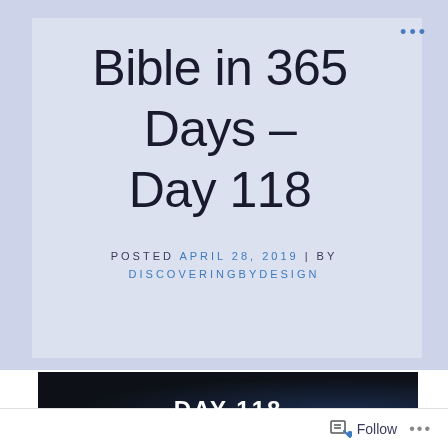Bible in 365 Days – Day 118
POSTED APRIL 28, 2019 | BY DISCOVERINGBYDESIGN
[Figure (other): Dark banner image with text DAY 118 in white bold letters on a dark navy/black background]
Follow